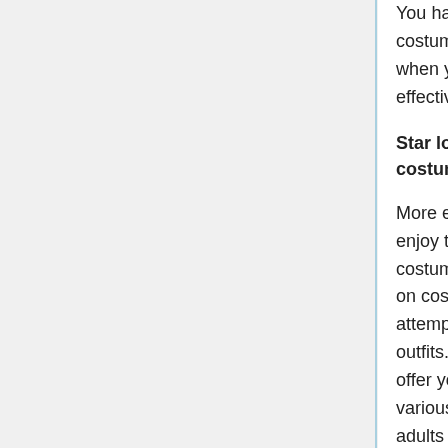You have actually chosen to pick which cosplay costume either star lord or gamora is ideal for you when you have actually chosen your character effectively.
Star lord cosplay- A budget friendly cosplay costume
More especially, individuals of all series of ages enjoy to put on up the different attire, majorly costume clothing on family celebrations and also on cosplay occasions. Even many individuals attempt to select to shop the precise gamora outfits. However, these cosplay clothing constantly offer you a substantial range of things with the various outfits such as youngsters, costumes for adults and also little ones.